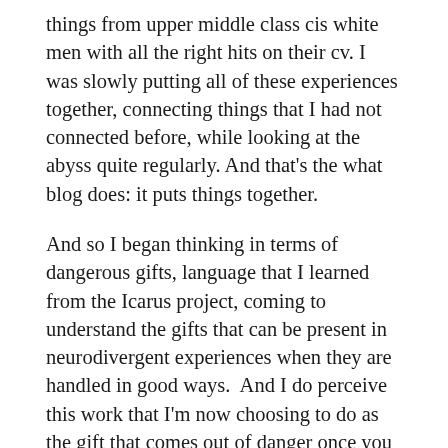things from upper middle class cis white men with all the right hits on their cv. I was slowly putting all of these experiences together, connecting things that I had not connected before, while looking at the abyss quite regularly. And that's the what blog does: it puts things together.
And so I began thinking in terms of dangerous gifts, language that I learned from the Icarus project, coming to understand the gifts that can be present in neurodivergent experiences when they are handled in good ways.  And I do perceive this work that I'm now choosing to do as the gift that comes out of danger once you get a handle on it. There was a moment at the very bottom of that time of abyss, a moment when I stopped fighting, and I surrendered.